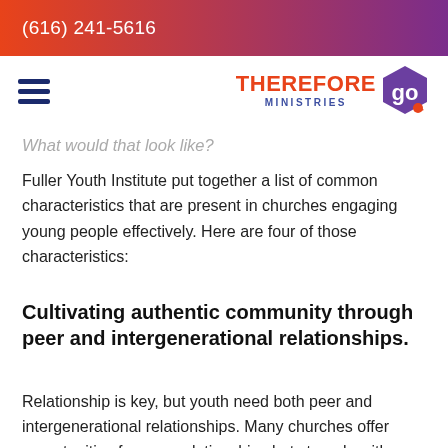(616) 241-5616
[Figure (logo): Therefore Go Ministries logo with hamburger menu icon]
What would that look like?
Fuller Youth Institute put together a list of common characteristics that are present in churches engaging young people effectively. Here are four of those characteristics:
Cultivating authentic community through peer and intergenerational relationships.
Relationship is key, but youth need both peer and intergenerational relationships. Many churches offer opportunities for peer relationships but struggle with intergenerational relationships. I